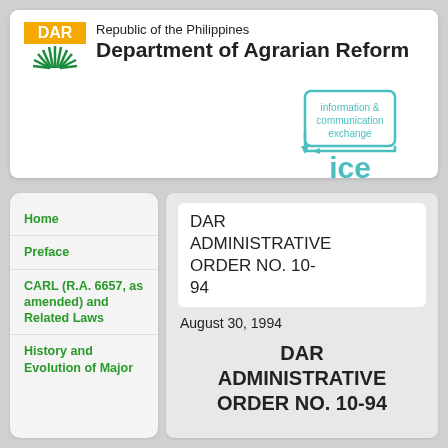[Figure (logo): DAR (Department of Agrarian Reform) logo with yellow and green sunburst emblem and text 'Republic of the Philippines Department of Agrarian Reform']
[Figure (logo): ICE - information & communication exchange logo in teal/cyan with recycling-arrow box design]
Home
Preface
CARL (R.A. 6657, as amended) and Related Laws
History and Evolution of Major
DAR ADMINISTRATIVE ORDER NO. 10-94
August 30, 1994
DAR ADMINISTRATIVE ORDER NO. 10-94